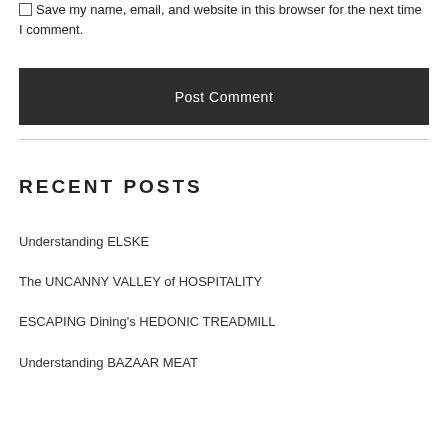Save my name, email, and website in this browser for the next time I comment.
Post Comment
RECENT POSTS
Understanding ELSKE
The UNCANNY VALLEY of HOSPITALITY
ESCAPING Dining's HEDONIC TREADMILL
Understanding BAZAAR MEAT